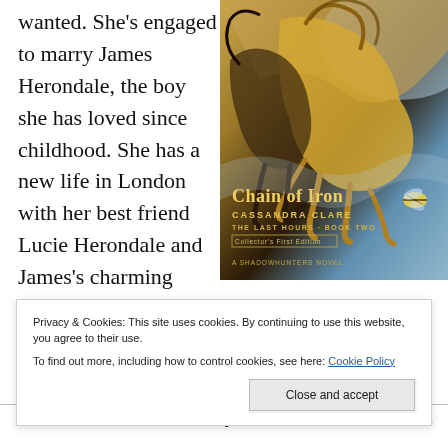wanted. She's engaged to marry James Herondale, the boy she has loved since childhood. She has a new life in London with her best friend Lucie Herondale and James's charming companions, the Merry Thieves. She is about to be reunited with her beloved
[Figure (illustration): Book cover of 'Chain of Iron' by Cassandra Clare, The Last Hours Book Two, Collector's First Edition, A Shadowhunters Novel. Shows fantasy figures with horses and flowing hair in gold and blue tones.]
James is in love with the mysterious Grace Blackthorn
Privacy & Cookies: This site uses cookies. By continuing to use this website, you agree to their use.
To find out more, including how to control cookies, see here: Cookie Policy